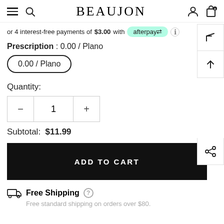BEAUJON
or 4 interest-free payments of $3.00 with afterpay
Prescription : 0.00 / Plano
0.00 / Plano
Quantity:
1
Subtotal: $11.99
ADD TO CART
Free Shipping
Free standard shipping on orders over $80.